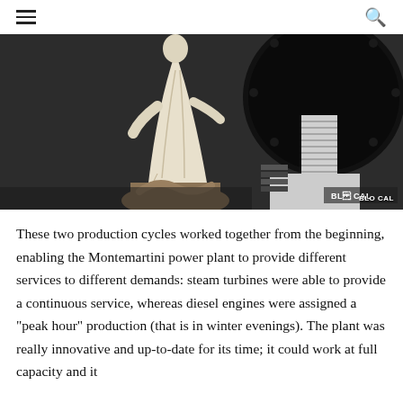☰  🔍
[Figure (photo): A classical white marble statue of a robed figure standing on a stone pedestal, photographed alongside large industrial machinery including what appears to be a turbine or engine component with a large black circular flange and a white threaded screw/bolt mechanism, in a dimly lit museum setting. Photo credit: BLO CAL]
These two production cycles worked together from the beginning, enabling the Montemartini power plant to provide different services to different demands: steam turbines were able to provide a continuous service, whereas diesel engines were assigned a "peak hour" production (that is in winter evenings). The plant was really innovative and up-to-date for its time; it could work at full capacity and it